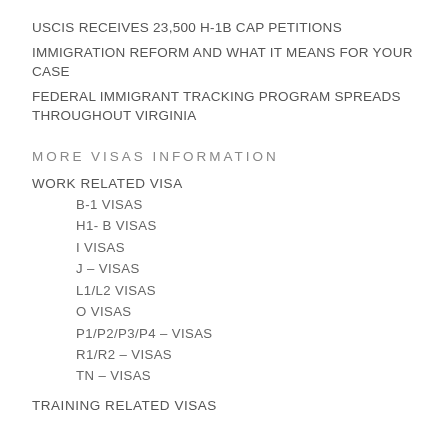USCIS RECEIVES 23,500 H-1B CAP PETITIONS
IMMIGRATION REFORM AND WHAT IT MEANS FOR YOUR CASE
FEDERAL IMMIGRANT TRACKING PROGRAM SPREADS THROUGHOUT VIRGINIA
MORE VISAS INFORMATION
WORK RELATED VISA
B-1 VISAS
H1- B VISAS
I VISAS
J – VISAS
L1/L2 VISAS
O VISAS
P1/P2/P3/P4 – VISAS
R1/R2 – VISAS
TN – VISAS
TRAINING RELATED VISAS